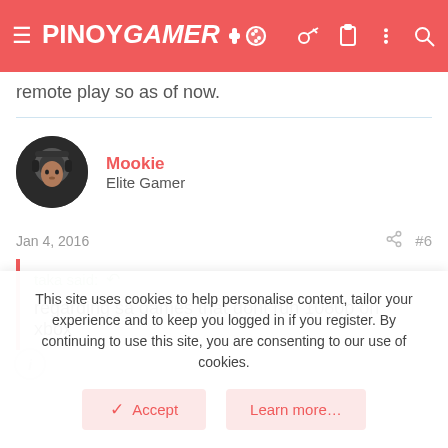PINOYGAMER
remote play so as of now.
Mookie
Elite Gamer
Jan 4, 2016  #6
taka said:
regarding sa games that dont run 1080p on xbox
This site uses cookies to help personalise content, tailor your experience and to keep you logged in if you register. By continuing to use this site, you are consenting to our use of cookies.
Accept  Learn more...